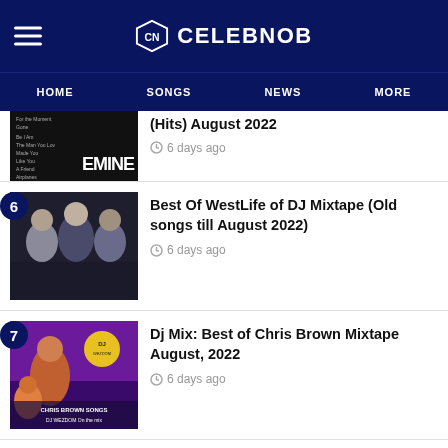CELEBNOB
(Hits) August 2022 — 6 days ago
Best Of WestLife of DJ Mixtape (Old songs till August 2022) — 6 days ago
Dj Mix: Best of Chris Brown Mixtape August, 2022 — 6 days ago